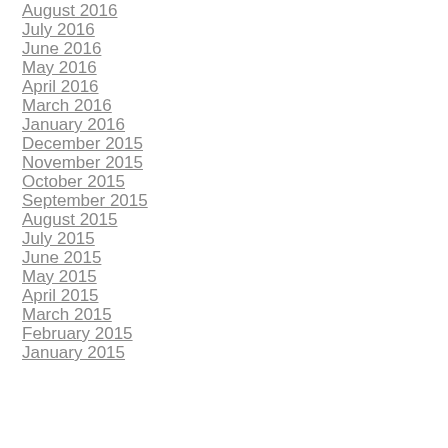August 2016
July 2016
June 2016
May 2016
April 2016
March 2016
January 2016
December 2015
November 2015
October 2015
September 2015
August 2015
July 2015
June 2015
May 2015
April 2015
March 2015
February 2015
January 2015